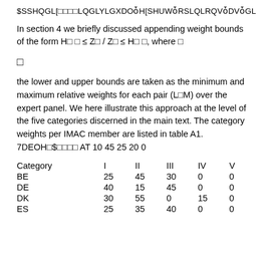$SSHQGL[□□□□LQGLYLGXDOȱH[SHUWȱRSLQLRQVȱDVȱGL
In section 4 we briefly discussed appending weight bounds of the form H□ □ ≤ Z□ / Z□ ≤ H□ □, where □
the lower and upper bounds are taken as the minimum and maximum relative weights for each pair (L□M) over the expert panel. We here illustrate this approach at the level of the five categories discerned in the main text. The category weights per IMAC member are listed in table A1. 7DEOH□$□□□□ AT 10 45 25 20 0
| Category | I | II | III | IV | V |
| --- | --- | --- | --- | --- | --- |
| BE | 25 | 45 | 30 | 0 | 0 |
| DE | 40 | 15 | 45 | 0 | 0 |
| DK | 30 | 55 | 0 | 15 | 0 |
| ES | 25 | 35 | 40 | 0 | 0 |